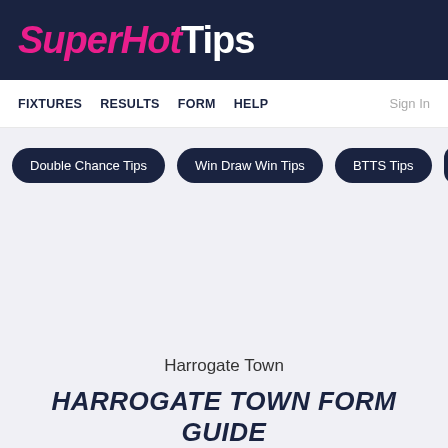SuperHotTips
FIXTURES  RESULTS  FORM  HELP  Sign In
Double Chance Tips
Win Draw Win Tips
BTTS Tips
Harrogate Town
HARROGATE TOWN FORM GUIDE